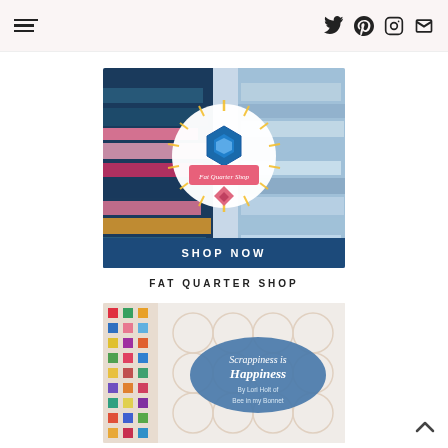Navigation menu and social icons (Twitter, Pinterest, Instagram, Email)
[Figure (photo): Fat Quarter Shop promotional banner image showing colorful fabric bundles with the Fat Quarter Shop logo circle in the center and a dark blue 'SHOP NOW' banner at the bottom]
FAT QUARTER SHOP
[Figure (photo): Book cover image for 'Scrappiness is Happiness' by Lori Holt of Bee in my Bonnet, showing quilt patterns and fabric stacks]